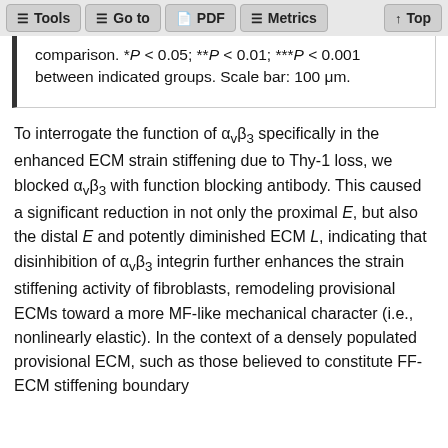Tools  Go to  PDF  Metrics  Top
comparison. *P < 0.05; **P < 0.01; ***P < 0.001 between indicated groups. Scale bar: 100 μm.
To interrogate the function of αvβ3 specifically in the enhanced ECM strain stiffening due to Thy-1 loss, we blocked αvβ3 with function blocking antibody. This caused a significant reduction in not only the proximal E, but also the distal E and potently diminished ECM L, indicating that disinhibition of αvβ3 integrin further enhances the strain stiffening activity of fibroblasts, remodeling provisional ECMs toward a more MF-like mechanical character (i.e., nonlinearly elastic). In the context of a densely populated provisional ECM, such as those believed to constitute FF-ECM stiffening boundary...